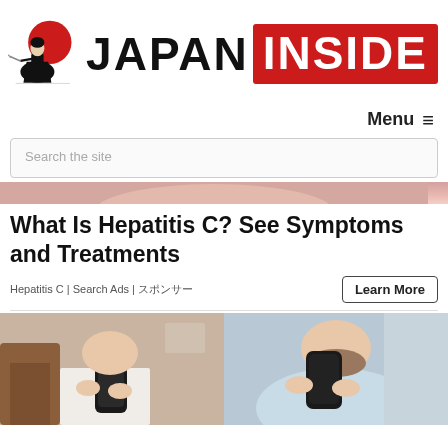[Figure (logo): Japan Inside website logo with samurai illustration and text 'JAPAN INSIDE' where INSIDE is in a red box]
Menu ≡
Search the site
[Figure (photo): Cropped header image of a person, visible as a narrow strip]
What Is Hepatitis C? See Symptoms and Treatments
Hepatitis C | Search Ads | スポンサー
Learn More
[Figure (photo): Two side-by-side photos of people holding smartphones, taken from a low angle showing their chins and phones]
[Figure (photo): Right side photo: person in light blue top holding a dark phone case up toward their chin]